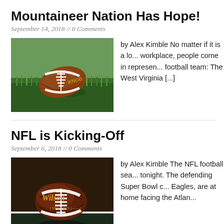Mountaineer Nation Has Hope!
September 14, 2018 // 0 Comments
[Figure (photo): A football resting on green grass field, close-up view from ground level]
by Alex Kimble No matter if it is a lo... workplace, people come in represen... football team: The West Virginia [...]
NFL is Kicking-Off
September 6, 2018 // 0 Comments
[Figure (photo): A Wilson brand NFL football resting on field turf/white lines]
by Alex Kimble The NFL football sea... tonight. The defending Super Bowl c... Eagles, are at home facing the Atlan...